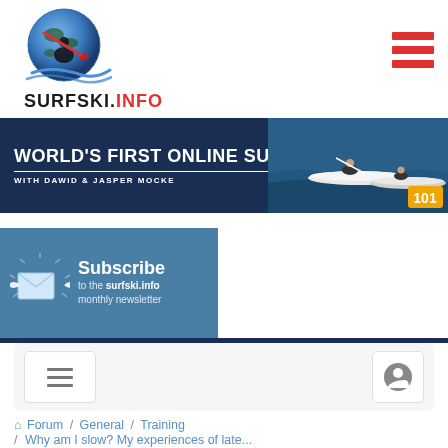[Figure (logo): Surfski.info logo with globe and paddler icon, with text SURFSKI.INFO where INFO is in red]
[Figure (other): Hamburger menu icon with three red horizontal bars]
[Figure (infographic): Banner: WORLD'S FIRST ONLINE SURFSKI COURSES with Dawid & Jasper Mocke, showing two kayakers on water, dark navy background, 101 badge]
[Figure (infographic): Subscribe to the surfski.info monthly newsletter box in teal/blue with envelope icon]
[Figure (other): Forum navigation panel with hamburger menu button and user account button]
Forum / General / Training / Why am I slow? My experiences of late...